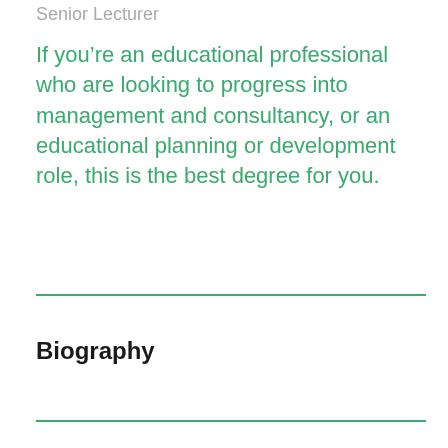Senior Lecturer
If you’re an educational professional who are looking to progress into management and consultancy, or an educational planning or development role, this is the best degree for you.
Biography